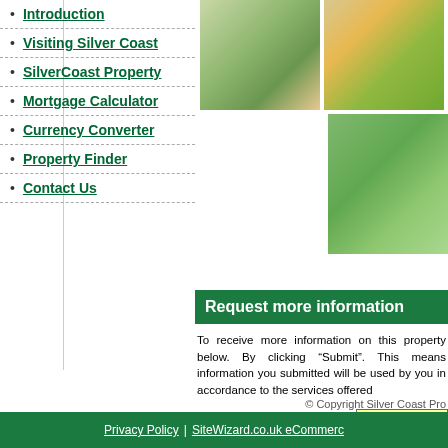Introduction
Visiting Silver Coast
SilverCoast Property
Mortgage Calculator
Currency Converter
Property Finder
Contact Us
[Figure (photo): Aerial/top-down architectural rendering of a modern villa with green lawn]
[Figure (photo): Landscape photo with yellow flowers and greenery]
[Figure (photo): Green hillside landscape photo]
Request more information
To receive more information on this prop... below. By clicking "Submit". This mea... information you submitted will be used b... you in accordance to the services offered...
Your Email Address:
Your Name:
Additional:
© Copyright Silver Coast Pro...
Privacy Policy | SiteWizard.co.uk eCommerc...